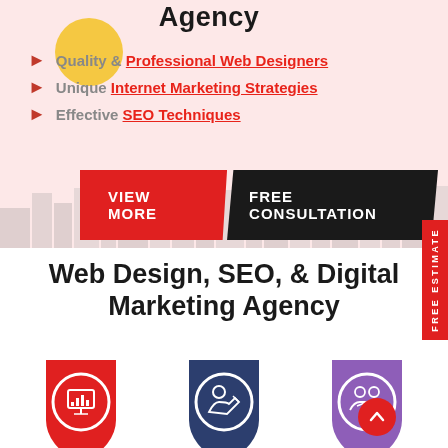Agency
Quality & Professional Web Designers
Unique Internet Marketing Strategies
Effective SEO Techniques
VIEW MORE
FREE CONSULTATION
FREE ESTIMATE
Web Design, SEO, & Digital Marketing Agency
[Figure (infographic): Three specialist badge icons: Analytics & Data Specialist (red), Content Marketing Specialist (dark blue), Customer Acquisition Specialist (purple)]